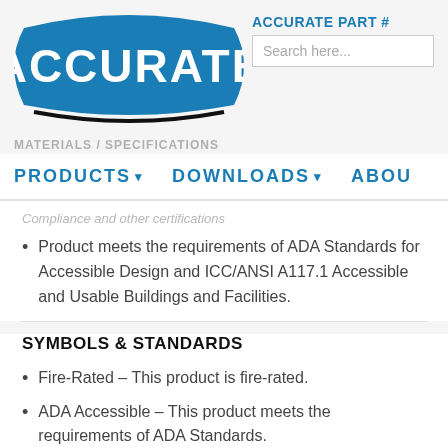[Figure (logo): Accurate company logo — white text 'ACCURATE' on a blue banner/pillow-shaped background with black curved underline]
ACCURATE PART #
Search here...
MATERIALS / SPECIFICATIONS
PRODUCTS  DOWNLOADS  ABOU
Compliance and other certifications
Product meets the requirements of ADA Standards for Accessible Design and ICC/ANSI A117.1 Accessible and Usable Buildings and Facilities.
SYMBOLS & STANDARDS
Fire-Rated – This product is fire-rated.
ADA Accessible – This product meets the requirements of ADA Standards.
Please contact us for more information.